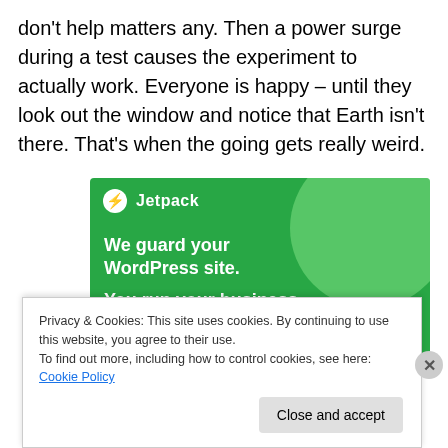don't help matters any. Then a power surge during a test causes the experiment to actually work. Everyone is happy – until they look out the window and notice that Earth isn't there. That's when the going gets really weird.
[Figure (illustration): Jetpack advertisement banner with green background showing 'We guard your WordPress site. You run your business.' with Jetpack logo]
Privacy & Cookies: This site uses cookies. By continuing to use this website, you agree to their use.
To find out more, including how to control cookies, see here: Cookie Policy